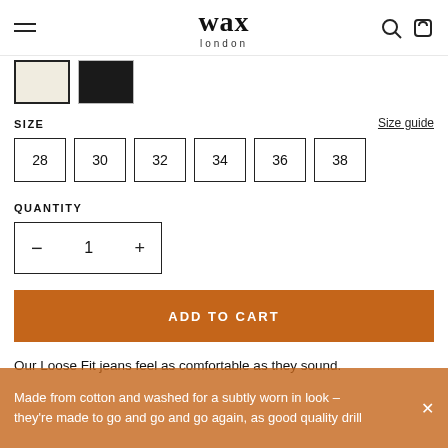wax london
[Figure (other): Two color swatches: cream/off-white (selected) and black]
SIZE
Size guide
28  30  32  34  36  38
QUANTITY
— 1 +
ADD TO CART
Our Loose Fit jeans feel as comfortable as they sound. Made from cotton and washed for a subtly worn in look – they're made to go and go and go again, as good quality drill